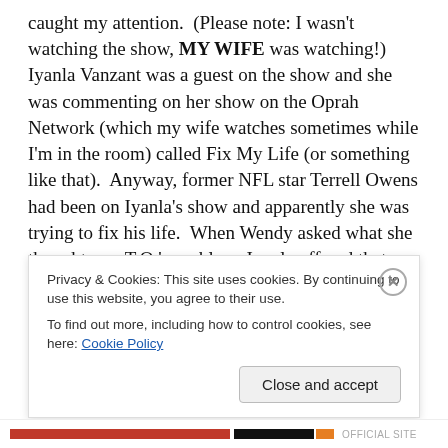caught my attention.  (Please note: I wasn't watching the show, MY WIFE was watching!)   Iyanla Vanzant was a guest on the show and she was commenting on her show on the Oprah Network (which my wife watches sometimes while I'm in the room) called Fix My Life (or something like that).  Anyway, former NFL star Terrell Owens had been on Iyanla's show and apparently she was trying to fix his life.  When Wendy asked what she thought was T.O.'s problem, Iyanla offered that, though T.O. had mastered the game of football, he had not mastered the art of "being a man." That last part reminded me that often women have
Privacy & Cookies: This site uses cookies. By continuing to use this website, you agree to their use.
To find out more, including how to control cookies, see here: Cookie Policy
Close and accept